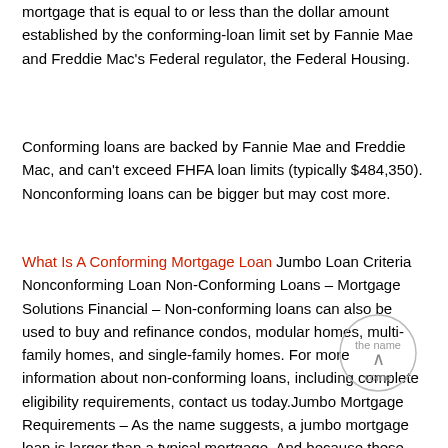mortgage that is equal to or less than the dollar amount established by the conforming-loan limit set by Fannie Mae and Freddie Mac's Federal regulator, the Federal Housing.
Conforming loans are backed by Fannie Mae and Freddie Mac, and can't exceed FHFA loan limits (typically $484,350). Nonconforming loans can be bigger but may cost more.
What Is A Conforming Mortgage Loan Jumbo Loan Criteria Nonconforming Loan Non-Conforming Loans – Mortgage Solutions Financial – Non-conforming loans can also be used to buy and refinance condos, modular homes, multi-family homes, and single-family homes. For more information about non-conforming loans, including complete eligibility requirements, contact us today.Jumbo Mortgage Requirements – As the name suggests, a jumbo mortgage loan is larger than a typical mortgage. And because these loans are so large, they come with...